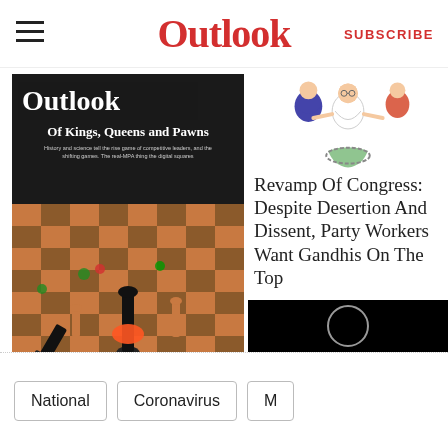Outlook | SUBSCRIBE
[Figure (photo): Outlook magazine cover showing chess pieces with Indian political party symbols, titled 'Of Kings, Queens and Pawns']
[Figure (illustration): Cartoon illustration of Indian political figures for Congress article]
Revamp Of Congress: Despite Desertion And Dissent, Party Workers Want Gandhis On The Top
Only time will tell if Congress, the Grand Old Party, can tackle its
National
Coronavirus
M…